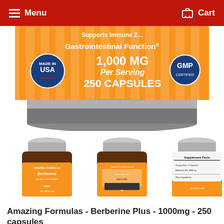Menu  Cart
[Figure (photo): Close-up cropped view of a supplement jar label showing 'Gastrointestinal Function', '1,000 MG Per Serving', '250 CAPSULES', 'Made in USA' badge, and 'GMP' badge on an orange background.]
[Figure (photo): Three views of the Amazing Formulas Berberine supplement bottle: front, back, and supplement facts panel views.]
Amazing Formulas - Berberine Plus - 1000mg - 250 capsules
THAD0125
$DD65